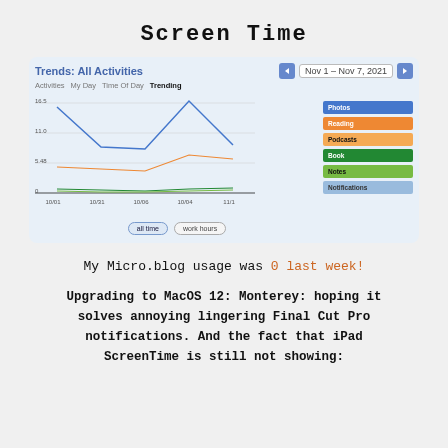Screen Time
[Figure (line-chart): Trends: All Activities line chart showing multiple activity lines over Nov 1 - Nov 7, 2021. Blue line peaks high around 16.5 then dips and rises again. Orange line trends upward. Green lines near zero. Legend shows: Photos, Reading, Podcasts, Book, Notes, Notifications.]
My Micro.blog usage was 0 last week!
Upgrading to MacOS 12: Monterey: hoping it solves annoying lingering Final Cut Pro notifications. And the fact that iPad ScreenTime is still not showing: